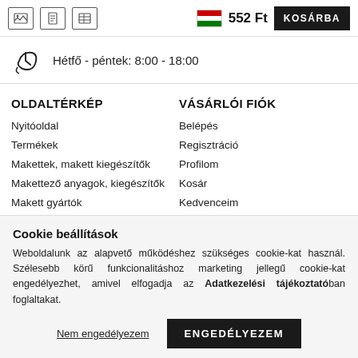552 Ft  KOSÁRBA
Hétfő - péntek: 8:00 - 18:00
OLDALTÉRKÉP
Nyitóoldal
Termékek
Makettek, makett kiegészítők
Makettező anyagok, kiegészítők
Makett gyártók
VÁSÁRLÓI FIÓK
Belépés
Regisztráció
Profilom
Kosár
Kedvenceim
Cookie beállítások
Weboldalunk az alapvető működéshez szükséges cookie-kat használ. Szélesebb körű funkcionalitáshoz marketing jellegű cookie-kat engedélyezhet, amivel elfogadja az Adatkezelési tájékoztatóban foglaltakat.
Nem engedélyezem
ENGEDÉLYEZEM